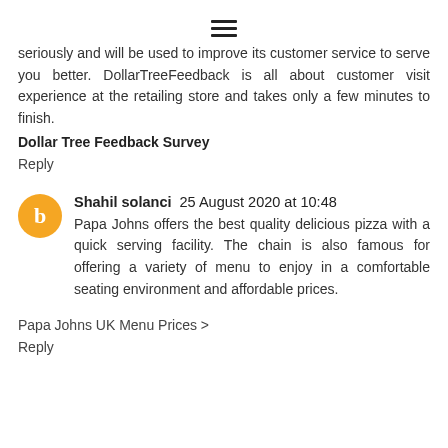[Figure (other): Hamburger menu icon (three horizontal lines)]
seriously and will be used to improve its customer service to serve you better. DollarTreeFeedback is all about customer visit experience at the retailing store and takes only a few minutes to finish.
Dollar Tree Feedback Survey
Reply
Shahil solanci 25 August 2020 at 10:48
Papa Johns offers the best quality delicious pizza with a quick serving facility. The chain is also famous for offering a variety of menu to enjoy in a comfortable seating environment and affordable prices.
Papa Johns UK Menu Prices >
Reply